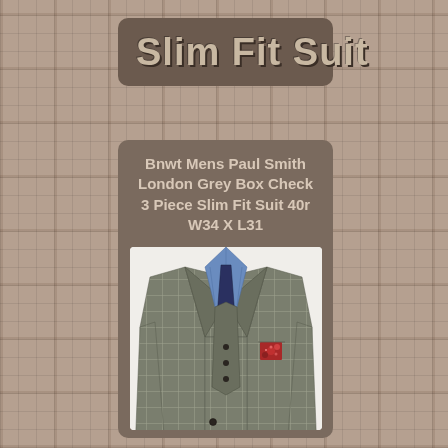Slim Fit Suit
Bnwt Mens Paul Smith London Grey Box Check 3 Piece Slim Fit Suit 40r W34 X L31
[Figure (photo): Photo of a grey box check slim fit suit jacket on a mannequin, showing blue gingham shirt, navy tie, and red floral pocket square]